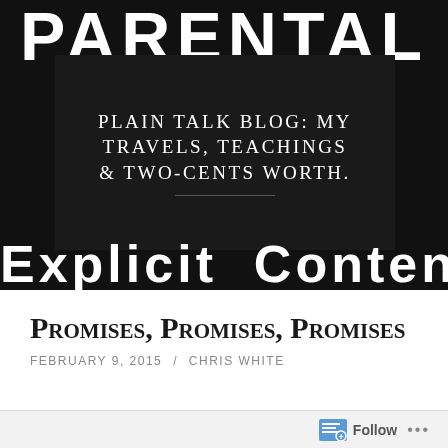[Figure (illustration): Blog header image with black background showing 'PARENTAL' text at top and 'EXPLICIT CONTENT' text at bottom in large bold white font. A dark overlay box in the center contains the blog title in serif uppercase white text: 'PLAIN TALK BLOG: MY TRAVELS, TEACHINGS & TWO-CENTS WORTH.' with a horizontal divider line below.]
Promises, Promises, Promises
FEBRUARY 9, 2015 / CHRIS WHITE
Follow